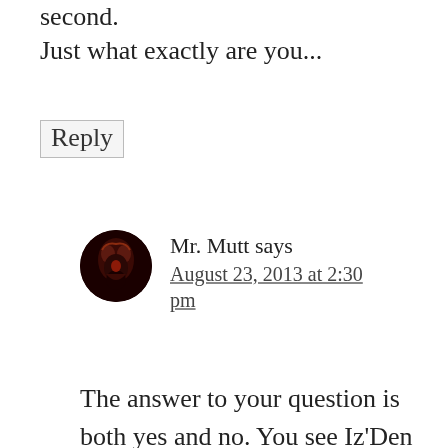second. Just what exactly are you...
Reply
Mr. Mutt says August 23, 2013 at 2:30 pm
The answer to your question is both yes and no. You see Iz'Den were the first beings to exist in this universe. We considered ourselves gods. Anything we imagined came